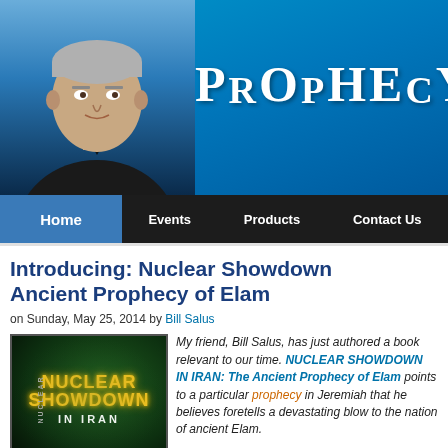[Figure (photo): Website header banner with blue gradient background, photo of a middle-aged man in a dark blazer on the left, and the text 'PROPHECY D...' in large white serif font on the right]
Home | Events | Products | Contact Us
Introducing: Nuclear Showdown Ancient Prophecy of Elam
on Sunday, May 25, 2014 by Bill Salus
[Figure (photo): Book cover for 'Nuclear Showdown in Iran' with yellow glowing title text on dark green background]
My friend, Bill Salus, has just authored a book relevant to our time. NUCLEAR SHOWDOWN IN IRAN: The Ancient Prophecy of Elam points to a particular prophecy in Jeremiah that he believes foretells a devastating blow to the nation of ancient Elam.